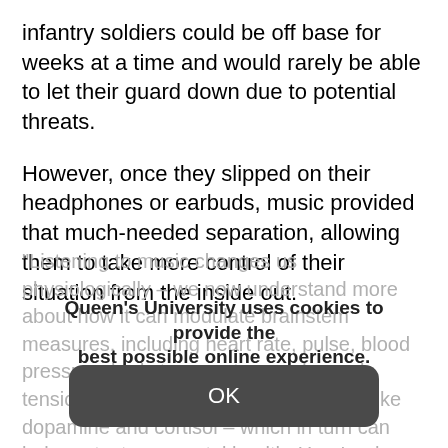infantry soldiers could be off base for weeks at a time and would rarely be able to let their guard down due to potential threats.
However, once they slipped on their headphones or earbuds, music provided that much-needed separation, allowing them to take more control of their situation from the inside out.
“Listening to music changes us physiologically – we now understand more about how it can modulate brainstem measures, including heart rate, pulse, blood pressure, body temperature and muscle tension, as well as influence hormones like dopamine and cortisol – which in turn can help protect our mental health. Here’s where it matters: whereas most civilians differentiate between ‘work time’ and ‘off-work time,’ deployed personnel live and work in the same stressful environment. And if they are constantly under threat and remain in that state of
Queen’s University uses cookies to provide the best possible online experience.
Learn about our privacy practices.
OK